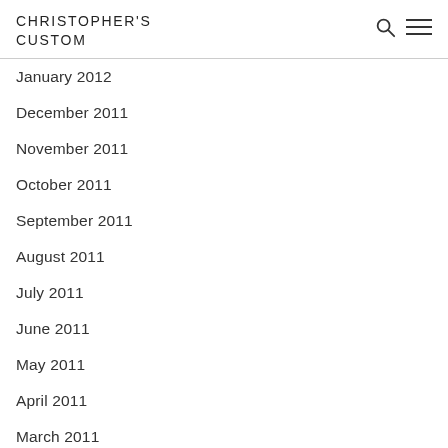CHRISTOPHER'S CUSTOM
January 2012
December 2011
November 2011
October 2011
September 2011
August 2011
July 2011
June 2011
May 2011
April 2011
March 2011